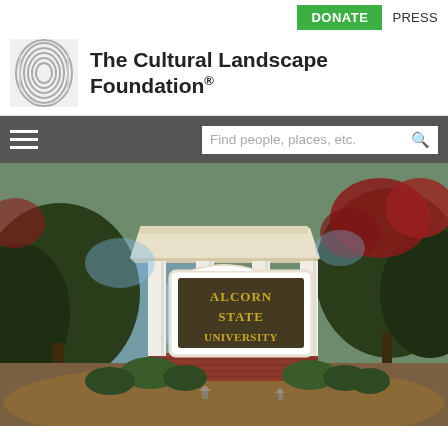DONATE  PRESS
The Cultural Landscape Foundation®
Find people, places, etc.
[Figure (photo): Entrance sign for Alcorn State University under a white columned pavilion structure, surrounded by trees and landscaping. The sign reads 'ALCORN STATE UNIVERSITY' in gold letters on a dark wood background. Red flowering trees visible in background.]